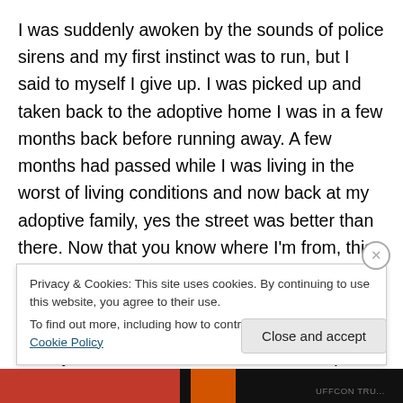I was suddenly awoken by the sounds of police sirens and my first instinct was to run, but I said to myself I give up. I was picked up and taken back to the adoptive home I was in a few months back before running away. A few months had passed while I was living in the worst of living conditions and now back at my adoptive family, yes the street was better than there. Now that you know where I'm from, this is where my dance story begins. I was struggling being back at school after coming off of the street, and I was now living on my own at 15 years old, and I was about to be expelled from school. I was dragged into the
Privacy & Cookies: This site uses cookies. By continuing to use this website, you agree to their use.
To find out more, including how to control cookies, see here: Cookie Policy
Close and accept